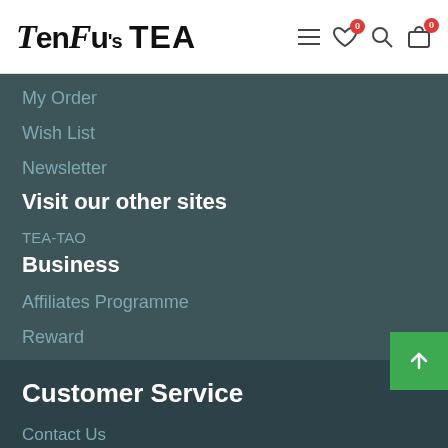TenFu's TEA
My Order
Wish List
Newsletter
Visit our other sites
TEA-TAO
Business
Affiliates Programme
Reward
Customer Service
Contact Us
About TenFu